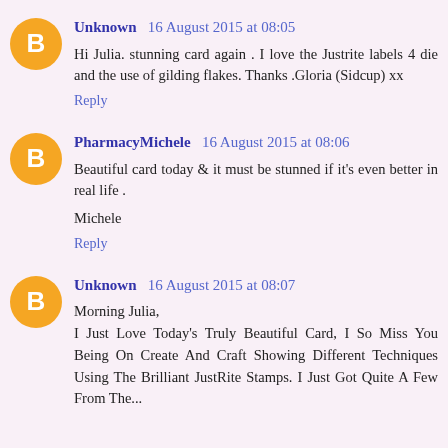Unknown  16 August 2015 at 08:05
Hi Julia. stunning card again . I love the Justrite labels 4 die and the use of gilding flakes. Thanks .Gloria (Sidcup) xx
Reply
PharmacyMichele  16 August 2015 at 08:06
Beautiful card today & it must be stunned if it's even better in real life .
Michele
Reply
Unknown  16 August 2015 at 08:07
Morning Julia,
I Just Love Today's Truly Beautiful Card, I So Miss You Being On Create And Craft Showing Different Techniques Using The Brilliant JustRite Stamps. I Just Got Quite A Few From The...